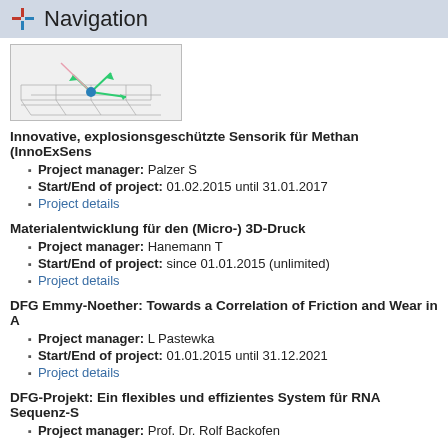Navigation
[Figure (illustration): 3D coordinate axes diagram with green arrows and a blue dot, showing a navigation/orientation visualization on a grid.]
Innovative, explosionsgeschützte Sensorik für Methan (InnoExSens
Project manager: Palzer S
Start/End of project: 01.02.2015 until 31.01.2017
Project details
Materialentwicklung für den (Micro-) 3D-Druck
Project manager: Hanemann T
Start/End of project: since 01.01.2015 (unlimited)
Project details
DFG Emmy-Noether: Towards a Correlation of Friction and Wear in A
Project manager: L Pastewka
Start/End of project: 01.01.2015 until 31.12.2021
Project details
DFG-Projekt: Ein flexibles und effizientes System für RNA Sequenz-S
Project manager: Prof. Dr. Rolf Backofen